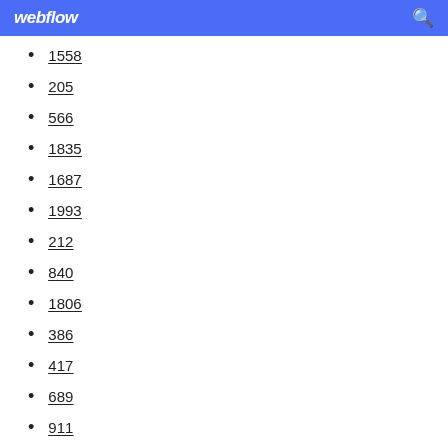webflow
1558
205
566
1835
1687
1993
212
840
1806
386
417
689
911